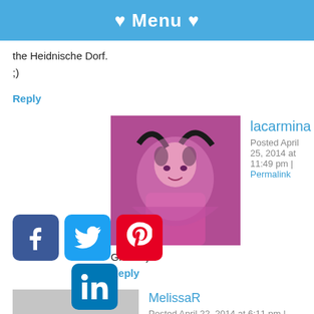♥ Menu ♥
the Heidnische Dorf.
;)
Reply
[Figure (photo): Profile photo of lacarmina - woman with pink hair and cat ears]
lacarmina
Posted April 25, 2014 at 11:49 pm | Permalink
Great! :)
Reply
[Figure (photo): Gray placeholder avatar silhouette]
MelissaR
Posted April 22, 2014 at 6:11 pm | Permalink
[Figure (other): Social media icons: Facebook, Twitter, Pinterest, LinkedIn]